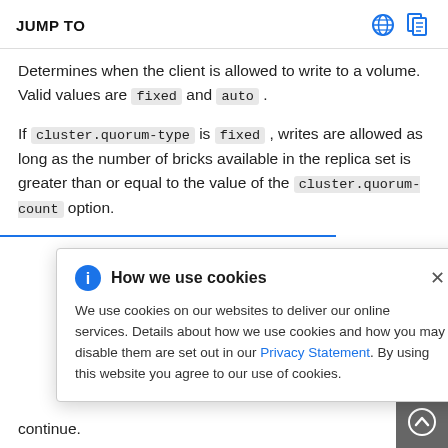JUMP TO
Determines when the client is allowed to write to a volume. Valid values are fixed and auto .
If cluster.quorum-type is fixed , writes are allowed as long as the number of bricks available in the replica set is greater than or equal to the value of the cluster.quorum-count option.
How we use cookies — We use cookies on our websites to deliver our online services. Details about how we use cookies and how you may disable them are set out in our Privacy Statement. By using this website you agree to our use of cookies.
continue.